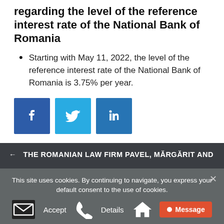On the Romanian Circular No. 11/2022 regarding the level of the reference interest rate of the National Bank of Romania
Starting with May 11, 2022, the level of the reference interest rate of the National Bank of Romania is 3.75% per year.
[Figure (other): Social media share buttons: Facebook, Twitter, LinkedIn]
THE ROMANIAN LAW FIRM PAVEL, MĂRGĂRIT AND ...
This site uses cookies. By continuing to navigate, you express your default consent to the use of cookies.